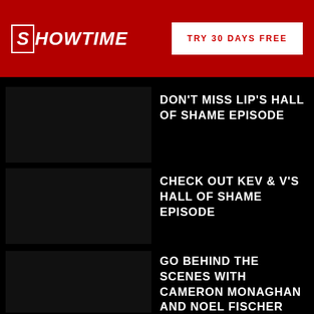SHOWTIME — TRY 30 DAYS FREE
DON'T MISS LIP'S HALL OF SHAME EPISODE
CHECK OUT KEV & V'S HALL OF SHAME EPISODE
GO BEHIND THE SCENES WITH CAMERON MONAGHAN AND NOEL FISCHER